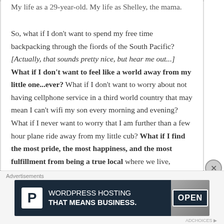My life as a 29-year-old. My life as Shelley, the mama.
So, what if I don't want to spend my free time backpacking through the fiords of the South Pacific? [Actually, that sounds pretty nice, but hear me out...] What if I don't want to feel like a world away from my little one...ever? What if I don't want to worry about not having cellphone service in a third world country that may mean I can't wifi my son every morning and evening? What if I never want to worry that I am further than a few hour plane ride away from my little cub? What if I find the most pride, the most happiness, and the most fulfillment from being a true local where we live, exploring every nook and cranny of San Diego?
[Figure (screenshot): Advertisement banner: WordPress Hosting That Means Business. with P logo icon on dark navy background and an OPEN sign photo on the right.]